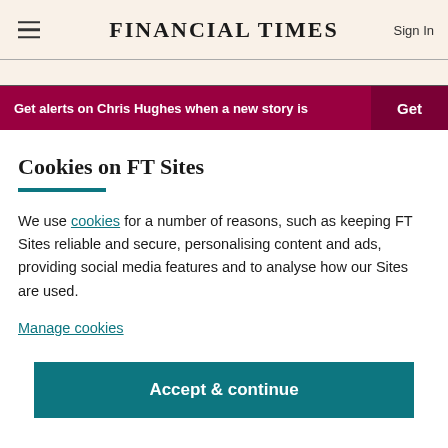FINANCIAL TIMES
Get alerts on Chris Hughes when a new story is
Cookies on FT Sites
We use cookies for a number of reasons, such as keeping FT Sites reliable and secure, personalising content and ads, providing social media features and to analyse how our Sites are used.
Manage cookies
Accept & continue